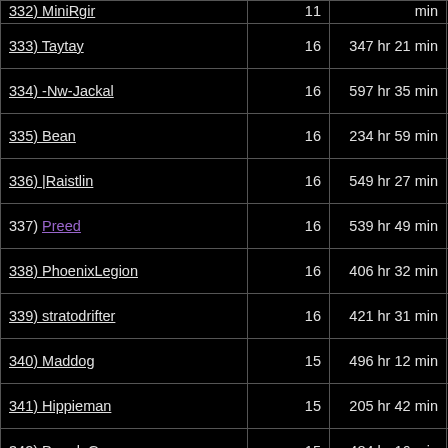| Name | Count | Total Time | Avg Time |
| --- | --- | --- | --- |
| 332) MiniRgir | 11 | min | 37.3 sec |
| 333) Taytay | 16 | 347 hr 21 min | 21 hr 42 min 36.8 sec |
| 334) -Nw-Jackal | 16 | 597 hr 35 min | 37 hr 20 min 57.4 sec |
| 335) Bean | 16 | 234 hr 59 min | 14 hr 41 min 12.0 sec |
| 336) |Raistlin | 16 | 549 hr 27 min | 34 hr 20 min 26.4 sec |
| 337) Preed | 16 | 539 hr 49 min | 33 hr 44 min 22.3 sec |
| 338) PhoenixLegion | 16 | 406 hr 32 min | 25 hr 24 min 30.9 sec |
| 339) stratodrifter | 16 | 421 hr 31 min | 26 hr 20 min 41.7 sec |
| 340) Maddog | 15 | 496 hr 12 min | 33 hr 04 min 49.7 sec |
| 341) Hippieman | 15 | 205 hr 42 min | 13 hr 42 min 50.8 sec |
| 342) DoppleGanger | 15 | 484 hr 16 min | 32 hr 17 min 04.7 sec |
| 343) ... | ... | 207 hr 29 min | 13 hr 49 min |